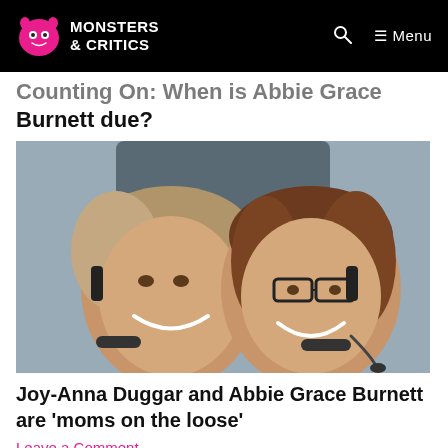Monsters & Critics — Menu
Counting On: When is Abbie Grace Burnett due?
[Figure (photo): Two women smiling at camera wearing headsets, appearing to be inside a small aircraft cockpit. Left woman has curly light brown hair, right woman has straight brown hair and glasses.]
Joy-Anna Duggar and Abbie Grace Burnett are 'moms on the loose'
Leave a Comment
Abbie Grace Burnett, Counting On, John David